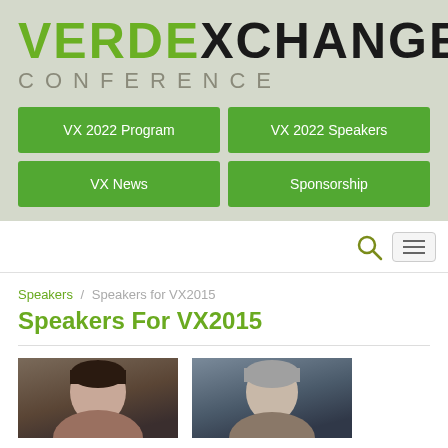[Figure (logo): VerdeXchange Conference logo with green VERDE and black XCHANGE text, and gray CONFERENCE subtitle]
VX 2022 Program
VX 2022 Speakers
VX News
Sponsorship
[Figure (screenshot): Search bar with magnifying glass icon and hamburger menu button]
Speakers / Speakers for VX2015
Speakers For VX2015
[Figure (photo): Two speaker headshots: a woman with dark hair on the left and a man with gray hair on the right]